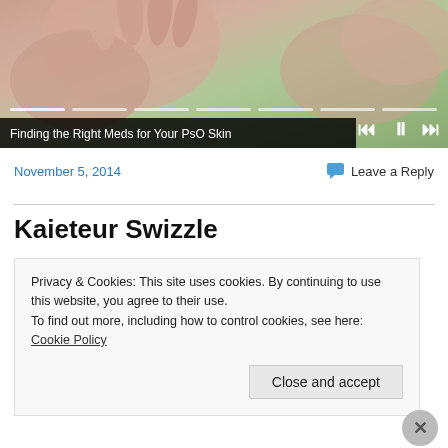[Figure (photo): Video player showing hands and green background, with media control icons (skip back, pause, skip forward) and progress bar segments. Caption bar reads: Finding the Right Meds for Your PsO Skin]
Finding the Right Meds for Your PsO Skin
November 5, 2014
Leave a Reply
Kaieteur Swizzle
Privacy & Cookies: This site uses cookies. By continuing to use this website, you agree to their use.
To find out more, including how to control cookies, see here: Cookie Policy
Close and accept